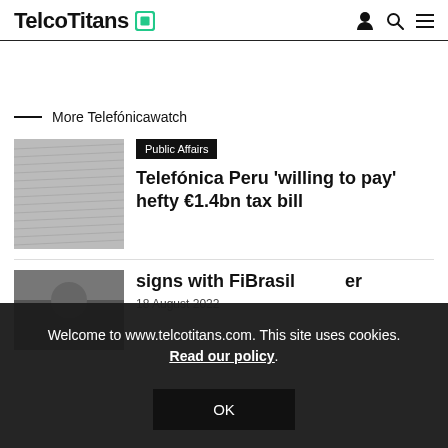TelcoTitans
More Telefónicawatch
[Figure (photo): Close-up photo of stacked paper/banknotes texture, grayscale]
Public Affairs
Telefónica Peru 'willing to pay' hefty €1.4bn tax bill
[Figure (photo): Partially visible outdoor/nature photo, partially obscured by cookie banner]
signs with FiBrasil
18 August 2022
Welcome to www.telcotitans.com. This site uses cookies. Read our policy.
OK